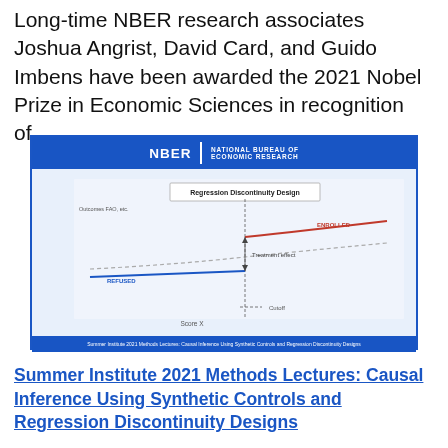Long-time NBER research associates Joshua Angrist, David Card, and Guido Imbens have been awarded the 2021 Nobel Prize in Economic Sciences in recognition of...
[Figure (other): NBER branded diagram showing a Regression Discontinuity Design chart with two lines (ENROLLED in red, REFUSED in blue), a treatment effect arrow, and a cutoff marker on the Score X axis. Title box reads 'Regression Discontinuity Design'. Footer text: Summer Institute 2021 Methods Lectures: Causal Inference Using Synthetic Controls and Regression Discontinuity Designs.]
Summer Institute 2021 Methods Lectures: Causal Inference Using Synthetic Controls and Regression Discontinuity Designs